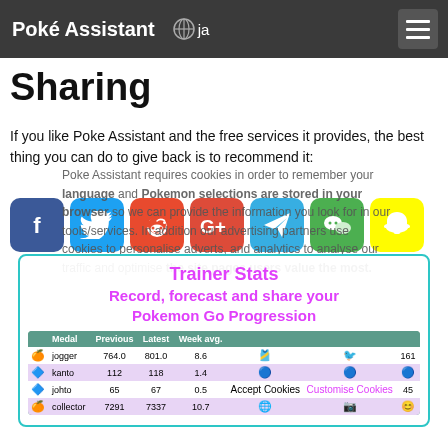Poké Assistant  🌐 ja
Sharing
If you like Poke Assistant and the free services it provides, the best thing you can do to give back is to recommend it:
[Figure (other): Social sharing buttons: Facebook, Twitter, Reddit, Google+, Telegram, WeChat, Snapchat]
Poke Assistant requires cookies in order to remember your language and Pokemon selections are stored in your browser so we can provide the information you look for in our tools/services. In addition our advertising partners use cookies to personalise adverts, and analytics to analyse our traffic and optimise the site pages users value the most.
Trainer Stats
Record, forecast and share your Pokemon Go Progression
|  | Medal | Previous | Latest | Week avg. |  |  |  |
| --- | --- | --- | --- | --- | --- | --- | --- |
| 🍊 | jogger | 764.0 | 801.0 | 8.6 |  |  | 161 |
| 🔵 | kanto | 112 | 118 | 1.4 |  |  |  |
| 🔵 | johto | 65 | 67 | 0.5 |  |  | 45 |
| 🍊 | collector | 7291 | 7337 | 10.7 |  |  |  |
Accept Cookies   Customise Cookies